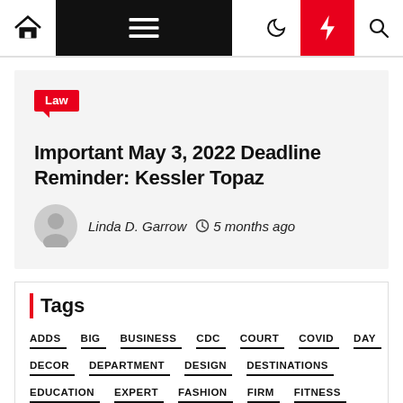Navigation bar with home, menu, moon, bolt, and search icons
Law
Important May 3, 2022 Deadline Reminder: Kessler Topaz
Linda D. Garrow  5 months ago
Tags
ADDS
BIG
BUSINESS
CDC
COURT
COVID
DAY
DECOR
DEPARTMENT
DESIGN
DESTINATIONS
EDUCATION
EXPERT
FASHION
FIRM
FITNESS